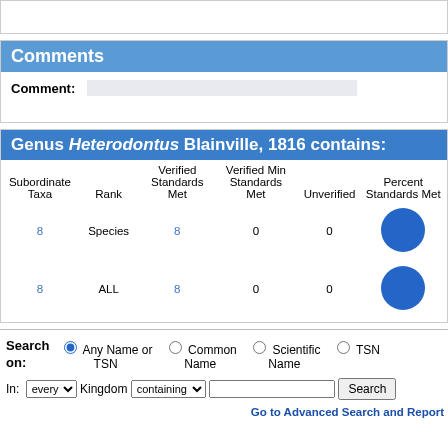Comments
Comment:
Genus Heterodontus Blainville, 1816 contains:
| Subordinate Taxa | Rank | Verified Standards Met | Verified Min Standards Met | Unverified | Percent Standards Met |
| --- | --- | --- | --- | --- | --- |
| 8 | Species | 8 | 0 | 0 | (circle) |
| 8 | ALL | 8 | 0 | 0 | (circle) |
Search on: Any Name or TSN | Common Name | Scientific Name | TSN
In: every Kingdom containing [text input] Search
Go to Advanced Search and Report